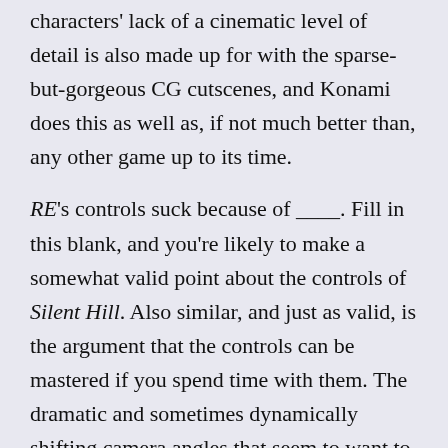characters' lack of a cinematic level of detail is also made up for with the sparse-but-gorgeous CG cutscenes, and Konami does this as well as, if not much better than, any other game up to its time.
RE's controls suck because of ____. Fill in this blank, and you're likely to make a somewhat valid point about the controls of Silent Hill. Also similar, and just as valid, is the argument that the controls can be mastered if you spend time with them. The dramatic and sometimes dynamically shifting camera angles that seem to want to prove to you that a non-static camera can more than make up for the lack of rendered backgrounds can have you cursing the controller at first. (Think RE—you have to remember what direction the character is facing, and push Up to go that way—and add to this a camera that moves, and sometimes even spins as you do.) But this point cannot be considered very valid for at least a couple of